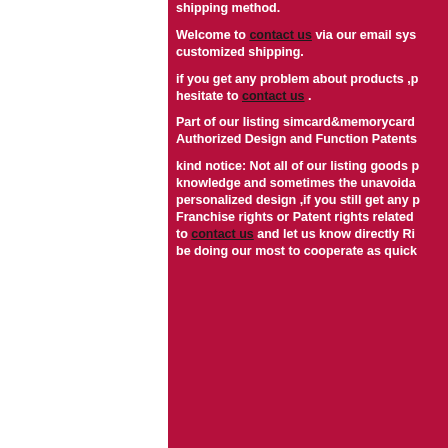shipping method.
Welcome to contact us via our email system customized shipping.
if you get any problem about products ,please don't hesitate to contact us .
Part of our listing simcard&memorycard have Authorized Design and Function Patents
kind notice: Not all of our listing goods p knowledge and sometimes the unavoida personalized design ,if you still get any p Franchise rights or Patent rights related to contact us and let us know directly Ri be doing our most to cooperate as quick